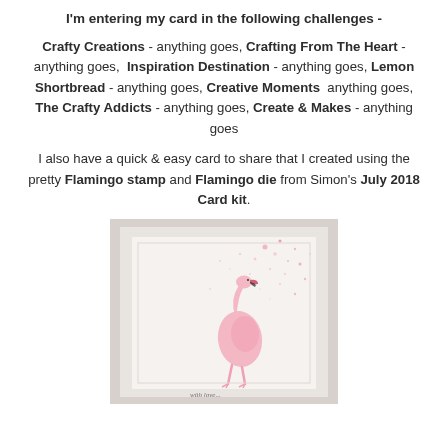I'm entering my card in the following challenges -
Crafty Creations - anything goes, Crafting From The Heart - anything goes, Inspiration Destination - anything goes, Lemon Shortbread - anything goes, Creative Moments  anything goes, The Crafty Addicts - anything goes, Create & Makes - anything goes
I also have a quick & easy card to share that I created using the pretty Flamingo stamp and Flamingo die from Simon's July 2018 Card kit.
[Figure (photo): A handmade card featuring a pink flamingo die cut on a white card with pink glitter splatter and a light grey/white textured background.]